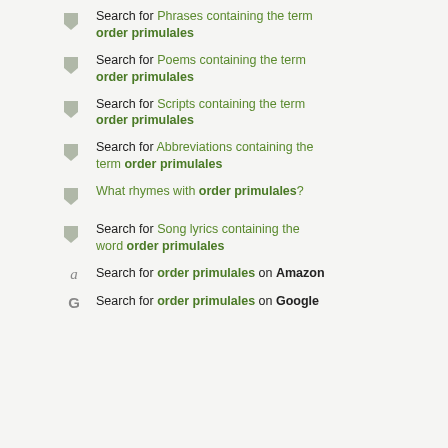Search for Phrases containing the term order primulales
Search for Poems containing the term order primulales
Search for Scripts containing the term order primulales
Search for Abbreviations containing the term order primulales
What rhymes with order primulales?
Search for Song lyrics containing the word order primulales
Search for order primulales on Amazon
Search for order primulales on Google